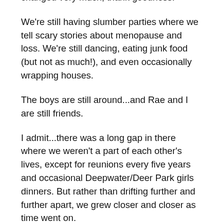changed very much, thank goodness!
We're still having slumber parties where we tell scary stories about menopause and loss. We're still dancing, eating junk food (but not as much!), and even occasionally wrapping houses.
The boys are still around...and Rae and I are still friends.
I admit...there was a long gap in there where we weren't a part of each other's lives, except for reunions every five years and occasional Deepwater/Deer Park girls dinners. But rather than drifting further and further apart, we grew closer and closer as time went on.
Now I hate to imagine not having her in my life.
Rae has seen enough dark times to recognize every blessing she receives, and she generously shares those blessings with everyone - even strangers if she sees there's a need. She keeps